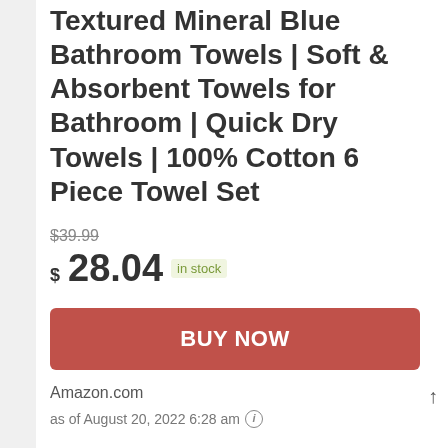Textured Mineral Blue Bathroom Towels | Soft & Absorbent Towels for Bathroom | Quick Dry Towels | 100% Cotton 6 Piece Towel Set
$39.99 (strikethrough)
$28.04 in stock
BUY NOW
Amazon.com
as of August 20, 2022 6:28 am ℹ